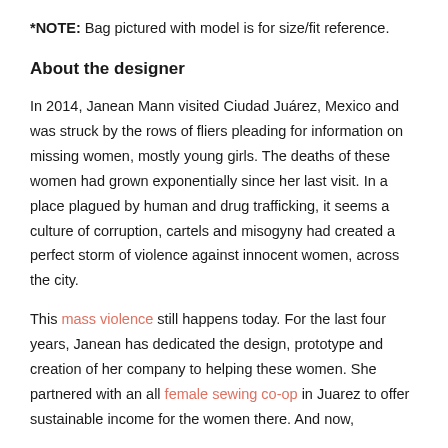*NOTE: Bag pictured with model is for size/fit reference.
About the designer
In 2014, Janean Mann visited Ciudad Juárez, Mexico and was struck by the rows of fliers pleading for information on missing women, mostly young girls. The deaths of these women had grown exponentially since her last visit. In a place plagued by human and drug trafficking, it seems a culture of corruption, cartels and misogyny had created a perfect storm of violence against innocent women, across the city.
This mass violence still happens today. For the last four years, Janean has dedicated the design, prototype and creation of her company to helping these women. She partnered with an all female sewing co-op in Juarez to offer sustainable income for the women there. And now,